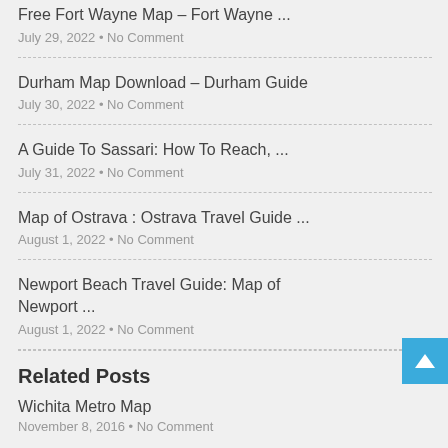Free Fort Wayne Map – Fort Wayne ...
July 29, 2022 • No Comment
Durham Map Download – Durham Guide
July 30, 2022 • No Comment
A Guide To Sassari: How To Reach, ...
July 31, 2022 • No Comment
Map of Ostrava : Ostrava Travel Guide ...
August 1, 2022 • No Comment
Newport Beach Travel Guide: Map of Newport ...
August 1, 2022 • No Comment
Related Posts
Wichita Metro Map
November 8, 2016 • No Comment